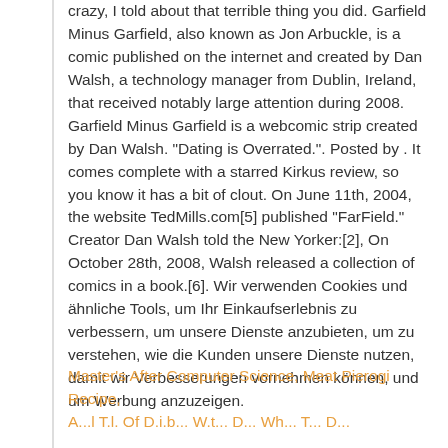crazy, I told about that terrible thing you did. Garfield Minus Garfield, also known as Jon Arbuckle, is a comic published on the internet and created by Dan Walsh, a technology manager from Dublin, Ireland, that received notably large attention during 2008. Garfield Minus Garfield is a webcomic strip created by Dan Walsh. "Dating is Overrated.". Posted by . It comes complete with a starred Kirkus review, so you know it has a bit of clout. On June 11th, 2004, the website TedMills.com[5] published "FarField." Creator Dan Walsh told the New Yorker:[2], On October 28th, 2008, Walsh released a collection of comics in a book.[6]. Wir verwenden Cookies und ähnliche Tools, um Ihr Einkaufserlebnis zu verbessern, um unsere Dienste anzubieten, um zu verstehen, wie die Kunden unsere Dienste nutzen, damit wir Verbesserungen vornehmen können, und um Werbung anzuzeigen.
Master's After Computer Science, Meat Pierogi Recipe, ...